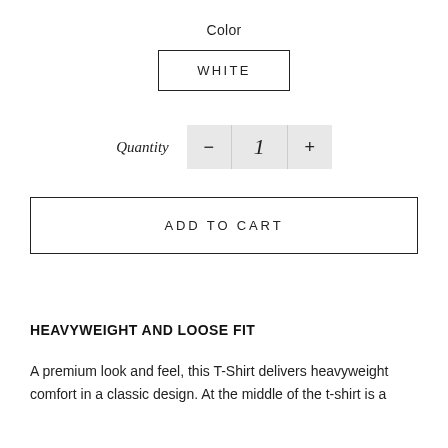Color
WHITE
Quantity  −  1  +
ADD TO CART
HEAVYWEIGHT AND LOOSE FIT
A premium look and feel, this T-Shirt delivers heavyweight comfort in a classic design. At the middle of the t-shirt is a